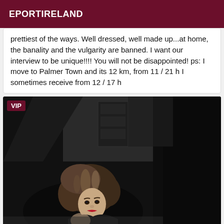EPORTIRELAND
prettiest of the ways. Well dressed, well made up...at home, the banality and the vulgarity are banned. I want our interview to be unique!!!! You will not be disappointed! ps: I move to Palmer Town and its 12 km, from 11 / 21 h I sometimes receive from 12 / 17 h
[Figure (photo): Woman with curly brown hair photographed in a dark room, with a VIP badge overlay in the top-left corner]